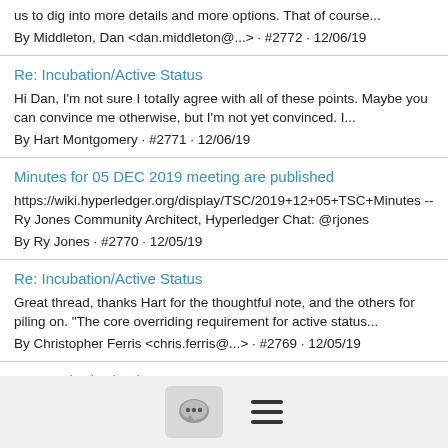us to dig into more details and more options. That of course...
By Middleton, Dan <dan.middleton@...> · #2772 · 12/06/19
Re: Incubation/Active Status
Hi Dan, I'm not sure I totally agree with all of these points. Maybe you can convince me otherwise, but I'm not yet convinced. I...
By Hart Montgomery · #2771 · 12/06/19
Minutes for 05 DEC 2019 meeting are published
https://wiki.hyperledger.org/display/TSC/2019+12+05+TSC+Minutes -- Ry Jones Community Architect, Hyperledger Chat: @rjones
By Ry Jones · #2770 · 12/05/19
Re: Incubation/Active Status
Great thread, thanks Hart for the thoughtful note, and the others for piling on. "The core overriding requirement for active status...
By Christopher Ferris <chris.ferris@...> · #2769 · 12/05/19
Re: Incubation/Active Status
...which the incubation/active status ... requirement for active...